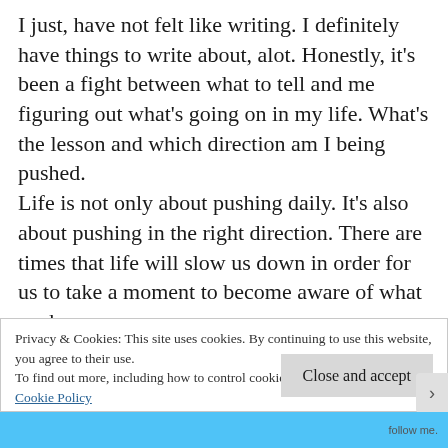I just, have not felt like writing. I definitely have things to write about, alot. Honestly, it's been a fight between what to tell and me figuring out what's going on in my life. What's the lesson and which direction am I being pushed.
Life is not only about pushing daily. It's also about pushing in the right direction. There are times that life will slow us down in order for us to take a moment to become aware of what we have.
So over the past year or so I've been reflecting on
Privacy & Cookies: This site uses cookies. By continuing to use this website, you agree to their use.
To find out more, including how to control cookies, see here:
Cookie Policy
Close and accept